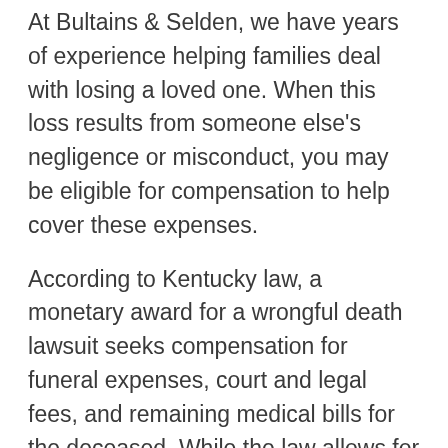At Bultains & Selden, we have years of experience helping families deal with losing a loved one. When this loss results from someone else's negligence or misconduct, you may be eligible for compensation to help cover these expenses.
According to Kentucky law, a monetary award for a wrongful death lawsuit seeks compensation for funeral expenses, court and legal fees, and remaining medical bills for the deceased. While the law allows for coverage of many wrongful death expenses, not many are aware that a legal claim can also cover funeral expenses.
The exact amount of money you can receive